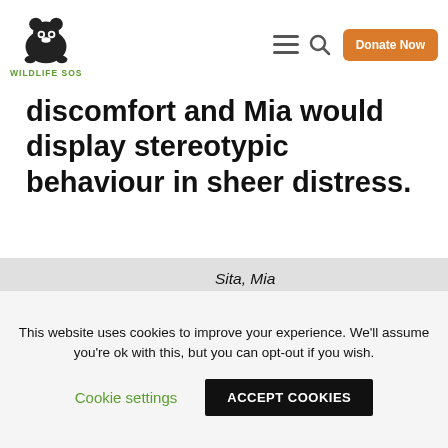Wildlife SOS — navigation header with logo, menu icon, search icon, Donate Now button
interaction; Rhea would be seen pulling at the chains while Sita would show discomfort and Mia would display stereotypic behaviour in sheer distress.
Sita, Mia and Rhea (L to R) were reunited at ECCC with no restrictions
This website uses cookies to improve your experience. We'll assume you're ok with this, but you can opt-out if you wish.
Cookie settings   ACCEPT COOKIES